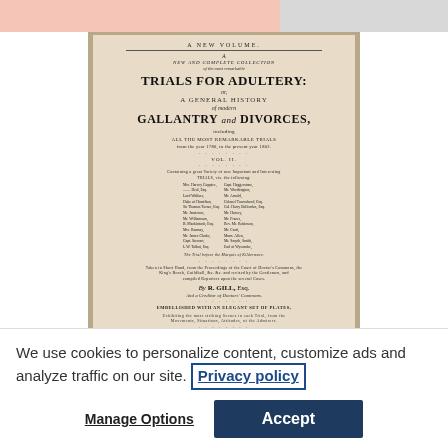[Figure (photo): Scanned title page of an old book: 'A New and Complete Collection of the Most Remarkable Trials for Adultery: or, A General History of Modern Gallantry and Divorces, including All the Most Remarkable Trials from the Year 1780, to the Present Year 1802. VOL. II. By R. Gill, Esq. Embellished with an Elegant Set of Plates. London.']
We use cookies to personalize content, customize ads and analyze traffic on our site. Privacy policy
Manage Options
Accept